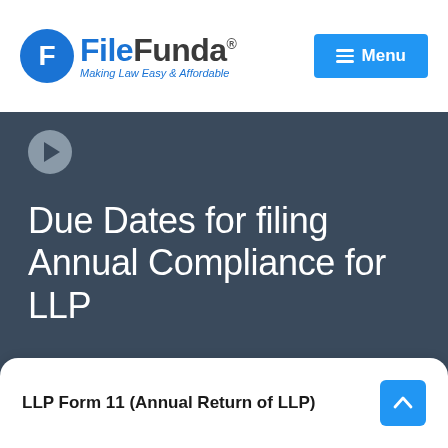FileFunda® — Making Law Easy & Affordable | Menu
[Figure (logo): FileFunda logo with circular F icon and tagline 'Making Law Easy & Affordable', with a blue Menu button on the right]
Due Dates for filing Annual Compliance for LLP
LLP Form 11 (Annual Return of LLP)